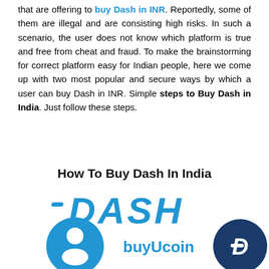that are offering to buy Dash in INR. Reportedly, some of them are illegal and are consisting high risks. In such a scenario, the user does not know which platform is true and free from cheat and fraud. To make the brainstorming for correct platform easy for Indian people, here we come up with two most popular and secure ways by which a user can buy Dash in INR. Simple steps to Buy Dash in India. Just follow these steps.
[Figure (illustration): Infographic titled 'How To Buy Dash In India' showing the Dash cryptocurrency logo in large blue italic letters, with the buyUcoin logo (blue circle with person icon and 'buyUcoin' text) on the left and the Dash coin logo (dark blue circle with the Dash 'D' symbol) on the right.]